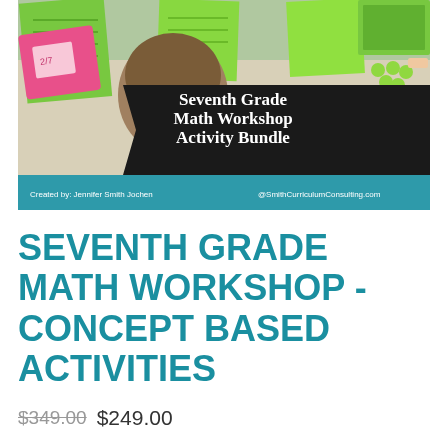[Figure (photo): Cover image for Seventh Grade Math Workshop Activity Bundle. Shows a student working on math activities at a desk with green worksheets, a pink tray, and manipulatives. A dark banner with white bold text reads 'Seventh Grade Math Workshop Activity Bundle'. A teal band at the bottom shows 'Created by: Jennifer Smith Jochen' and '@SmithCurriculumConsulting.com'.]
SEVENTH GRADE MATH WORKSHOP - CONCEPT BASED ACTIVITIES
$349.00 $249.00